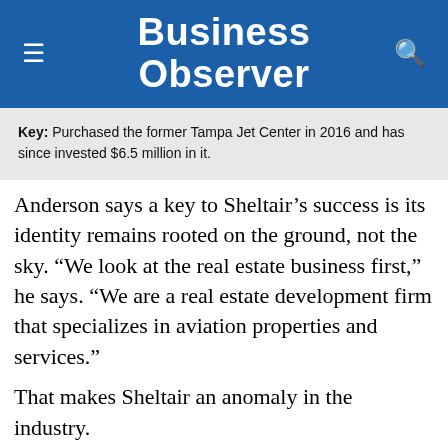Business Observer
Key: Purchased the former Tampa Jet Center in 2016 and has since invested $6.5 million in it.
Anderson says a key to Sheltair’s success is its identity remains rooted on the ground, not the sky. “We look at the real estate business first,” he says. “We are a real estate development firm that specializes in aviation properties and services.”
That makes Sheltair an anomaly in the industry.
“The FBO is really a sister company of the real estate business,” adds Anderson, who joined Sheltair in 2009. “We build our own hangars and, in some...